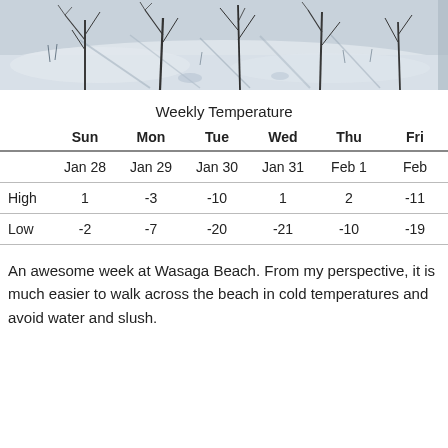[Figure (photo): Winter snow scene at Wasaga Beach with bare trees casting shadows on snow-covered ground, black and white tones]
Weekly Temperature
|  | Sun | Mon | Tue | Wed | Thu | Fri |
| --- | --- | --- | --- | --- | --- | --- |
|  | Jan 28 | Jan 29 | Jan 30 | Jan 31 | Feb 1 | Feb |
| High | 1 | -3 | -10 | 1 | 2 | -11 |
| Low | -2 | -7 | -20 | -21 | -10 | -19 |
An awesome week at Wasaga Beach. From my perspective, it is much easier to walk across the beach in cold temperatures and avoid water and slush.